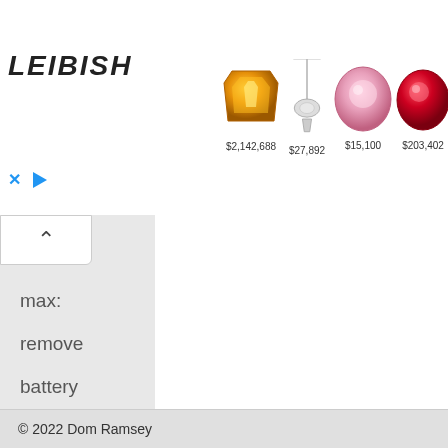[Figure (screenshot): Leibish jewelry advertisement banner showing 5 gemstone items with prices: $2,142,688 (orange cushion gem), $27,892 (silver pendant necklace), $15,100 (pink oval gem), $203,402 (red ruby oval), $118,472 (pink rough gem). Leibish logo in italic bold on left. Blue X and play button icons bottom left.]
max:
remove
battery
the sim
card – t
memory
card slo
underne
the sim
© 2022 Dom Ramsey